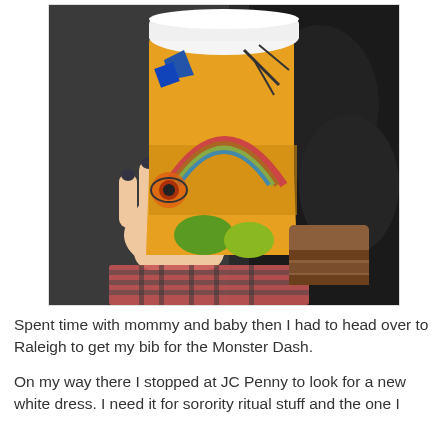[Figure (photo): A hand with dark nail polish holding a tall orange decorative coffee cup with a white lid. The cup features colorful abstract art including blue shapes, a rainbow arc, and green/yellow designs. The background shows the interior of a car with black leather seats and what appears to be a plaid fabric item in the lower portion.]
Spent time with mommy and baby then I had to head over to Raleigh to get my bib for the Monster Dash.
On my way there I stopped at JC Penny to look for a new white dress. I need it for sorority ritual stuff and the one I